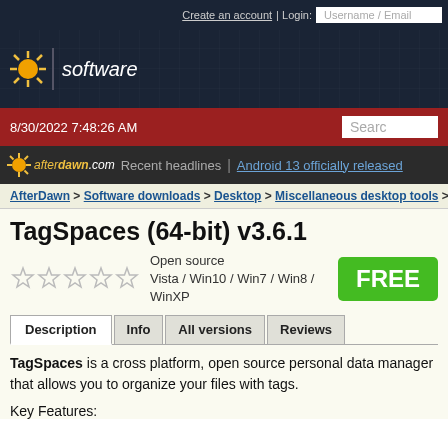Create an account | Login: Username / Email
[Figure (logo): AfterDawn software website logo with sun icon and 'software' text on dark blue background]
8/30/2022 7:48:26 AM
afterdawn.com Recent headlines | Android 13 officially released
AfterDawn > Software downloads > Desktop > Miscellaneous desktop tools > Ta...
TagSpaces (64-bit) v3.6.1
Open source
Vista / Win10 / Win7 / Win8 / WinXP
FREE
Description | Info | All versions | Reviews
TagSpaces is a cross platform, open source personal data manager that allows you to organize your files with tags.
Key Features: